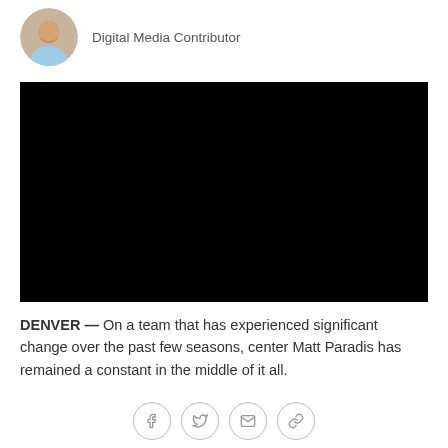[Figure (photo): Circular avatar photo of a smiling young man]
Digital Media Contributor
[Figure (photo): Large black video/image block]
DENVER — On a team that has experienced significant change over the past few seasons, center Matt Paradis has remained a constant in the middle of it all.
[Figure (other): Social sharing icons: Facebook, Twitter, Email, Link]